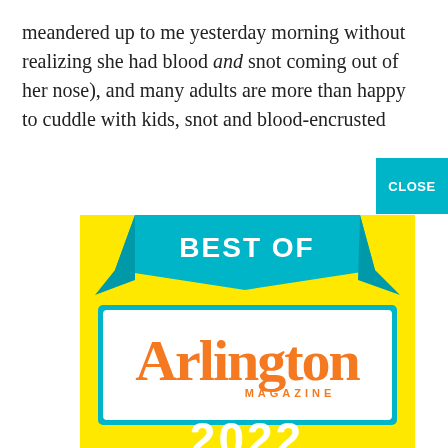meandered up to me yesterday morning without realizing she had blood and snot coming out of her nose), and many adults are more than happy to cuddle with kids, snot and blood-encrusted
[Figure (illustration): Best of Arlington Magazine 2022 - A Top Vote Getter advertisement badge on yellow background with teal ribbon and white bordered box]